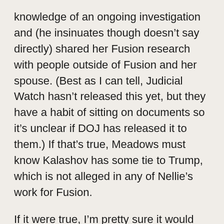knowledge of an ongoing investigation and (he insinuates though doesn't say directly) shared her Fusion research with people outside of Fusion and her spouse. (Best as I can tell, Judicial Watch hasn't released this yet, but they have a habit of sitting on documents so it's unclear if DOJ has released it to them.) If that's true, Meadows must know Kalashov has some tie to Trump, which is not alleged in any of Nellie's work for Fusion.
If it were true, I'm pretty sure it would have become a campaign issue.
Meadows has, at several times in his efforts to delegitimize the information sharing by a small network of people who compare notes on Russian organized crime, gotten shockingly close to